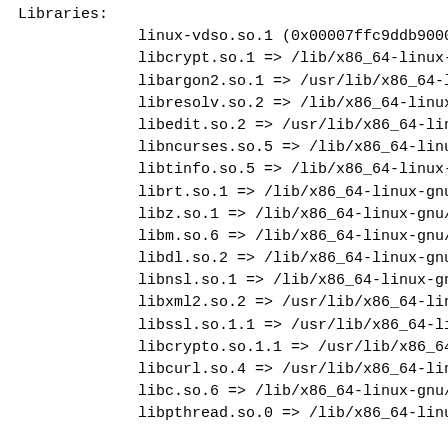Libraries:
linux-vdso.so.1 (0x00007ffc9ddb9000
libcrypt.so.1 => /lib/x86_64-linux-
libargon2.so.1 => /usr/lib/x86_64-l
libresolv.so.2 => /lib/x86_64-linux
libedit.so.2 => /usr/lib/x86_64-lin
libncurses.so.5 => /lib/x86_64-linu
libtinfo.so.5 => /lib/x86_64-linux-
librt.so.1 => /lib/x86_64-linux-gnu
libz.so.1 => /lib/x86_64-linux-gnu/
libm.so.6 => /lib/x86_64-linux-gnu/
libdl.so.2 => /lib/x86_64-linux-gnu
libnsl.so.1 => /lib/x86_64-linux-gn
libxml2.so.2 => /usr/lib/x86_64-lin
libssl.so.1.1 => /usr/lib/x86_64-li
libcrypto.so.1.1 => /usr/lib/x86_64
libcurl.so.4 => /usr/lib/x86_64-lin
libc.so.6 => /lib/x86_64-linux-gnu/
libpthread.so.0 => /lib/x86_64-linu